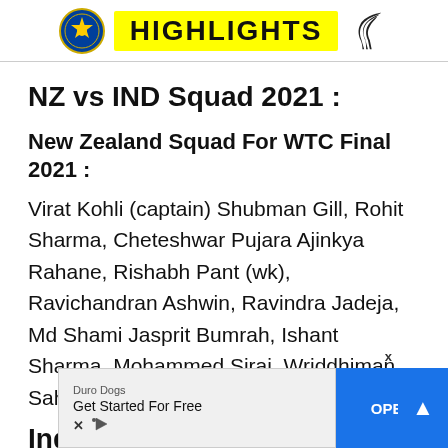HIGHLIGHTS
NZ vs IND Squad 2021 :
New Zealand Squad For WTC Final 2021 :
Virat Kohli (captain) Shubman Gill, Rohit Sharma, Cheteshwar Pujara Ajinkya Rahane, Rishabh Pant (wk), Ravichandran Ashwin, Ravindra Jadeja, Md Shami Jasprit Bumrah, Ishant Sharma, Mohammed Siraj, Wriddhiman Saha (wk), Umesh Yadav, Hanuma Vihari.
India Squ